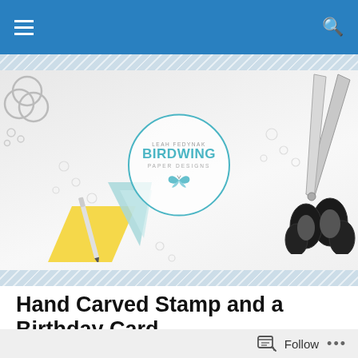Birdwing Paper Designs - navigation bar
[Figure (photo): Blog header image with crafting supplies: paper triangles in yellow and blue, a pen, metal rings, pearl-like beads, and scissors on the right. Center has a circular logo reading LEAH FEDYNAK / BIRDWING / PAPER DESIGNS with a butterfly icon.]
Hand Carved Stamp and a Birthday Card
The other day I was playing around with a new sketching app on the iPad called, Sketches.  I was experimenting with the different brushes and drawing some simple
Follow ...